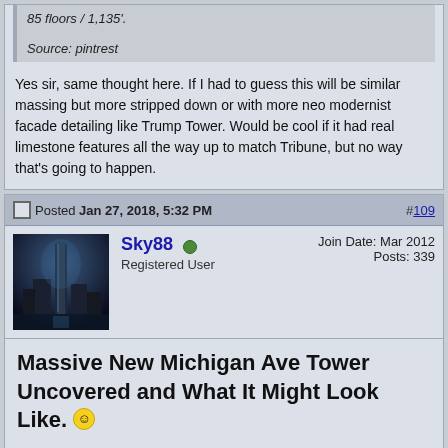85 floors / 1,135'.
Source: pintrest
Yes sir, same thought here. If I had to guess this will be similar massing but more stripped down or with more neo modernist facade detailing like Trump Tower. Would be cool if it had real limestone features all the way up to match Tribune, but no way that's going to happen.
Posted Jan 27, 2018, 5:32 PM
#109
Join Date: Mar 2012
Posts: 339
Sky88 Registered User
Massive New Michigan Ave Tower Uncovered and What It Might Look Like.
from www.chicagoarchitecture.org
Posted Jan 27, 2018, 5:47 PM